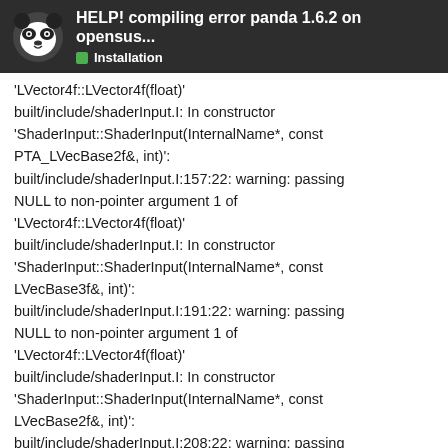HELP! compiling error panda 1.6.2 on opensus... Installation
'LVector4f::LVector4f(float)' built/include/shaderInput.I: In constructor 'ShaderInput::ShaderInput(InternalName*, const PTA_LVecBase2f&, int)': built/include/shaderInput.I:157:22: warning: passing NULL to non-pointer argument 1 of 'LVector4f::LVector4f(float)' built/include/shaderInput.I: In constructor 'ShaderInput::ShaderInput(InternalName*, const LVecBase3f&, int)': built/include/shaderInput.I:191:22: warning: passing NULL to non-pointer argument 1 of 'LVector4f::LVector4f(float)' built/include/shaderInput.I: In constructor 'ShaderInput::ShaderInput(InternalName*, const LVecBase2f&, int)': built/include/shaderInput.I:208:22: warning: passing NULL to non-pointer argument 1 of 'LVector4f::LVector4f(float)'
20 / 29